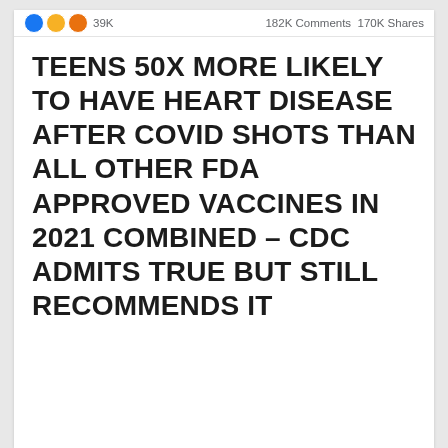39K   182K Comments  170K Shares
TEENS 50X MORE LIKELY TO HAVE HEART DISEASE AFTER COVID SHOTS THAN ALL OTHER FDA APPROVED VACCINES IN 2021 COMBINED – CDC ADMITS TRUE BUT STILL RECOMMENDS IT